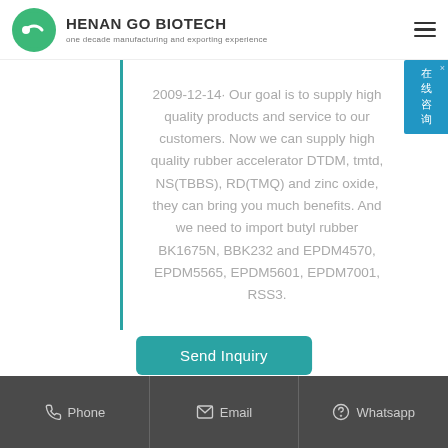HENAN GO BIOTECH — one decade manufacturing and exporting experience
2009-12-14· Our goal is to supply high quality products and service to our customers. Now we can supply high quality rubber accelerator DTDM, tmtd, NS(TBBS), RD(TMQ) and zinc oxide, they can bring you much benefits. And we need to import butyl rubber BK1675N, BBK232 and EPDM4570, EPDM5565, EPDM5601, EPDM7001, RSS3.
Send Inquiry
Phone | Email | Whatsapp